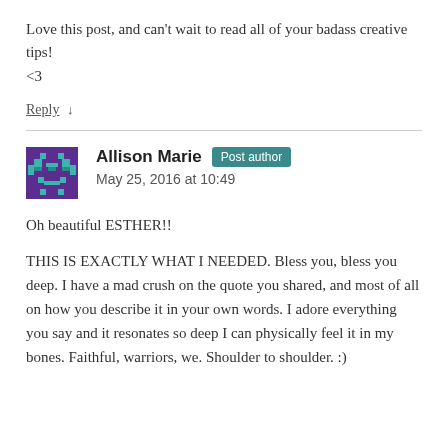Love this post, and can't wait to read all of your badass creative tips!
<3
Reply ↓
Allison Marie  Post author
May 25, 2016 at 10:49
Oh beautiful ESTHER!!
THIS IS EXACTLY WHAT I NEEDED. Bless you, bless you deep. I have a mad crush on the quote you shared, and most of all on how you describe it in your own words. I adore everything you say and it resonates so deep I can physically feel it in my bones. Faithful, warriors, we. Shoulder to shoulder. :)